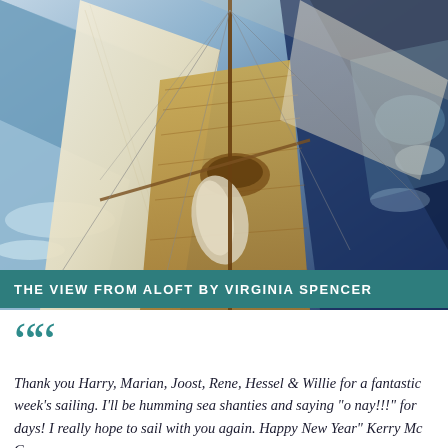[Figure (photo): Aerial/aloft view looking down the deck of a sailboat under sail, with large white sails visible, wooden deck and cockpit, and deep blue ocean water with white wake on both sides.]
THE VIEW FROM ALOFT BY VIRGINIA SPENCER
Thank you Harry, Marian, Joost, Rene, Hessel & Willie for a fantastic week's sailing. I'll be humming sea shanties and saying "o nay!!!" for days! I really hope to sail with you again. Happy New Year" Kerry Mc C.